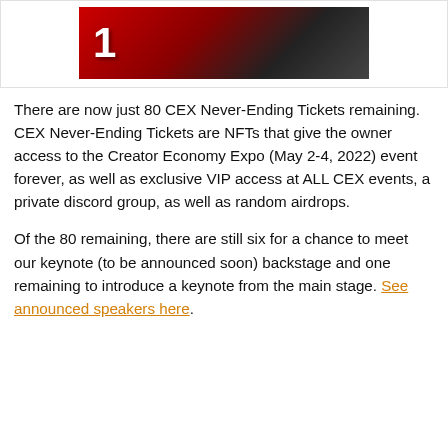[Figure (photo): Partial image showing a red and black graphic with the number '1' visible, resembling a conference or event promotional banner for CEX (Creator Economy Expo).]
There are now just 80 CEX Never-Ending Tickets remaining. CEX Never-Ending Tickets are NFTs that give the owner access to the Creator Economy Expo (May 2-4, 2022) event forever, as well as exclusive VIP access at ALL CEX events, a private discord group, as well as random airdrops.
Of the 80 remaining, there are still six for a chance to meet our keynote (to be announced soon) backstage and one remaining to introduce a keynote from the main stage. See announced speakers here.